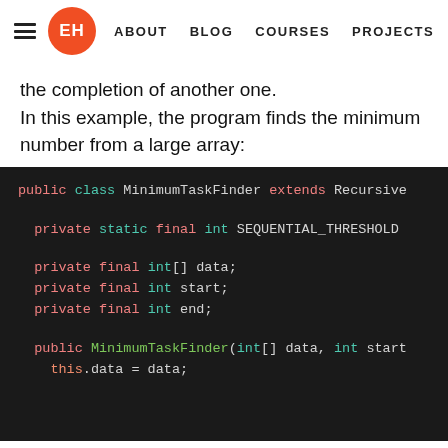EH | ABOUT  BLOG  COURSES  PROJECTS
the completion of another one.
In this example, the program finds the minimum number from a large array:
[Figure (screenshot): Java code snippet showing MinimumTaskFinder class extending Recursive, with fields SEQUENTIAL_THRESHOLD, data, start, end, and constructor MinimumTaskFinder(int[] data, int start, ...)]